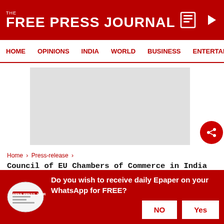THE FREE PRESS JOURNAL
HOME | OPINIONS | INDIA | WORLD | BUSINESS | ENTERTAIN
[Figure (other): Advertisement placeholder banner, light gray rectangle]
Home > Press-release >
Council of EU Chambers of Commerce in India felicitated Governor Bhagat Singh Koshyari on the occasion of Europe Day 2022
Do you wish to receive daily Epaper on your WhatsApp for FREE?